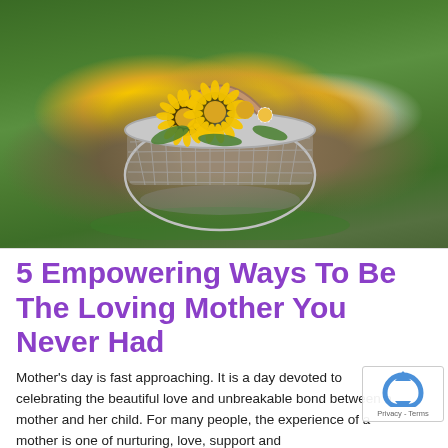[Figure (photo): A wire mesh basket filled with yellow dandelion flowers and white daisies, sitting on grass outdoors. The basket has a wooden handle. Background is green grass/garden scene.]
5 Empowering Ways To Be The Loving Mother You Never Had
Mother's day is fast approaching. It is a day devoted to celebrating the beautiful love and unbreakable bond between a mother and her child. For many people, the experience of a mother is one of nurturing, love, support and